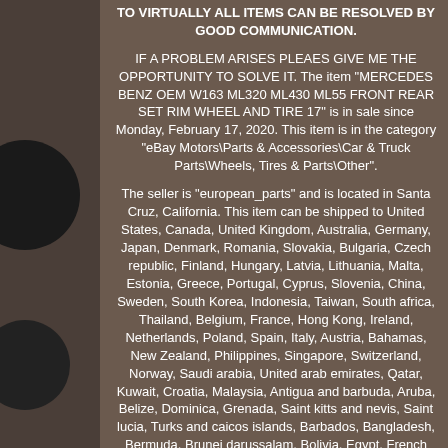TO VIRTUALLY ALL ITEMS CAN BE RESOLVED BY GOOD COMMUNICATION.
IF A PROBLEM ARISES PLEAES GIVE ME THE OPPORTUNITY TO SOLVE IT. The item "MERCEDES BENZ OEM W163 ML320 ML430 ML55 FRONT REAR SET RIM WHEEL AND TIRE 17" is in sale since Monday, February 17, 2020. This item is in the category "eBay Motors\Parts & Accessories\Car & Truck Parts\Wheels, Tires & Parts\Other".
The seller is "european_parts" and is located in Santa Cruz, California. This item can be shipped to United States, Canada, United Kingdom, Australia, Germany, Japan, Denmark, Romania, Slovakia, Bulgaria, Czech republic, Finland, Hungary, Latvia, Lithuania, Malta, Estonia, Greece, Portugal, Cyprus, Slovenia, China, Sweden, South Korea, Indonesia, Taiwan, South africa, Thailand, Belgium, France, Hong Kong, Ireland, Netherlands, Poland, Spain, Italy, Austria, Bahamas, New Zealand, Philippines, Singapore, Switzerland, Norway, Saudi arabia, United arab emirates, Qatar, Kuwait, Croatia, Malaysia, Antigua and barbuda, Aruba, Belize, Dominica, Grenada, Saint kitts and nevis, Saint lucia, Turks and caicos islands, Barbados, Bangladesh, Bermuda, Brunei darussalam, Bolivia, Egypt, French guiana, Guernsey, Gibraltar, Guadeloupe, Iceland, Jersey, ...